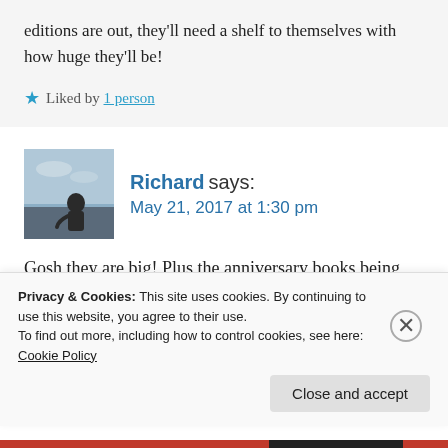editions are out, they'll need a shelf to themselves with how huge they'll be!
★ Liked by 1 person
Richard says:
May 21, 2017 at 1:30 pm
[Figure (photo): Avatar photo of commenter Richard, showing a person outdoors against a sky background]
Gosh they are big! Plus the anniversary books being released this year in all the house colours! That might be an expense I can't
Privacy & Cookies: This site uses cookies. By continuing to use this website, you agree to their use.
To find out more, including how to control cookies, see here: Cookie Policy
Close and accept